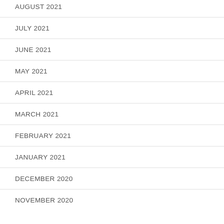AUGUST 2021
JULY 2021
JUNE 2021
MAY 2021
APRIL 2021
MARCH 2021
FEBRUARY 2021
JANUARY 2021
DECEMBER 2020
NOVEMBER 2020